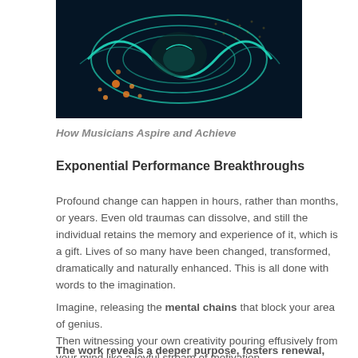[Figure (illustration): Abstract digital/music artwork showing glowing teal wave-like shapes and orange particles on a dark background]
How Musicians Aspire and Achieve
Exponential Performance Breakthroughs
Profound change can happen in hours, rather than months, or years. Even old traumas can dissolve, and still the individual retains the memory and experience of it, which is a gift. Lives of so many have been changed, transformed, dramatically and naturally enhanced. This is all done with words to the imagination.
Imagine, releasing the mental chains that block your area of genius.
Then witnessing your own creativity pouring effusively from your mind like a joyful stream of motivation.
The work reveals a deeper purpose, fosters renewal, and